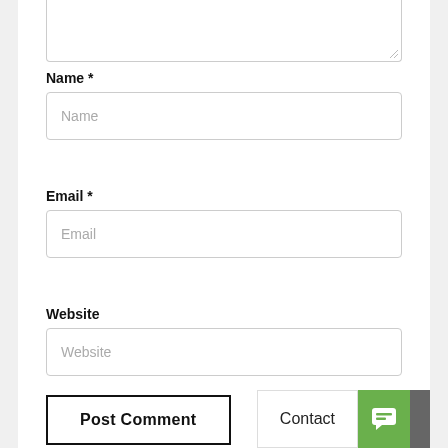[Figure (screenshot): Textarea input box (top portion visible, cut off at top of page)]
Name *
[Figure (screenshot): Name input field with placeholder text 'Name']
Email *
[Figure (screenshot): Email input field with placeholder text 'Email']
Website
[Figure (screenshot): Website input field with placeholder text 'Website']
[Figure (screenshot): Post Comment button]
[Figure (screenshot): Contact button and green chat icon button in bottom right corner]